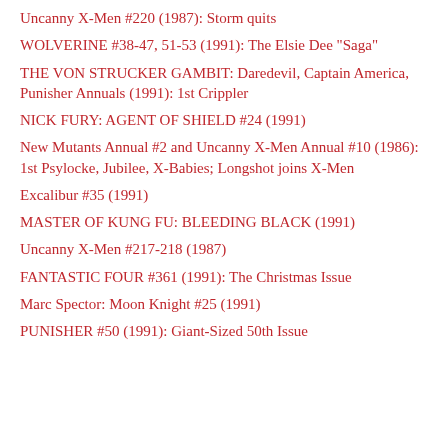Uncanny X-Men #220 (1987): Storm quits
WOLVERINE #38-47, 51-53 (1991): The Elsie Dee "Saga"
THE VON STRUCKER GAMBIT: Daredevil, Captain America, Punisher Annuals (1991): 1st Crippler
NICK FURY: AGENT OF SHIELD #24 (1991)
New Mutants Annual #2 and Uncanny X-Men Annual #10 (1986): 1st Psylocke, Jubilee, X-Babies; Longshot joins X-Men
Excalibur #35 (1991)
MASTER OF KUNG FU: BLEEDING BLACK (1991)
Uncanny X-Men #217-218 (1987)
FANTASTIC FOUR #361 (1991): The Christmas Issue
Marc Spector: Moon Knight #25 (1991)
PUNISHER #50 (1991): Giant-Sized 50th Issue